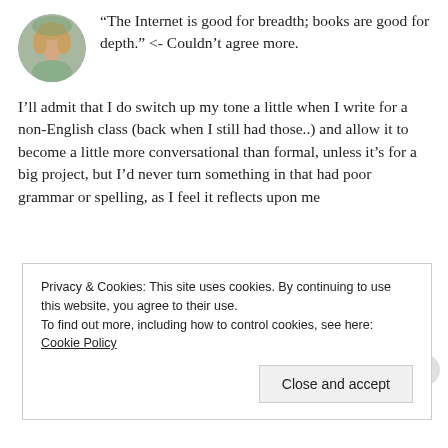[Figure (photo): Circular avatar photo of a woman with blonde hair, outdoors background]
“The Internet is good for breadth; books are good for depth.” <- Couldn’t agree more.
I’ll admit that I do switch up my tone a little when I write for a non-English class (back when I still had those..) and allow it to become a little more conversational than formal, unless it’s for a big project, but I’d never turn something in that had poor grammar or spelling, as I feel it reflects upon me
Privacy & Cookies: This site uses cookies. By continuing to use this website, you agree to their use.
To find out more, including how to control cookies, see here: Cookie Policy
Close and accept